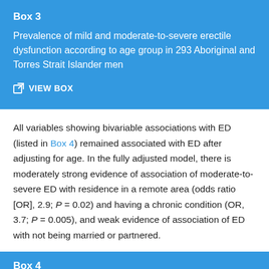Box 3
Prevalence of mild and moderate-to-severe erectile dysfunction according to age group in 293 Aboriginal and Torres Strait Islander men
VIEW BOX
All variables showing bivariable associations with ED (listed in Box 4) remained associated with ED after adjusting for age. In the fully adjusted model, there is moderately strong evidence of association of moderate-to-severe ED with residence in a remote area (odds ratio [OR], 2.9; P = 0.02) and having a chronic condition (OR, 3.7; P = 0.005), and weak evidence of association of ED with not being married or partnered.
Box 4